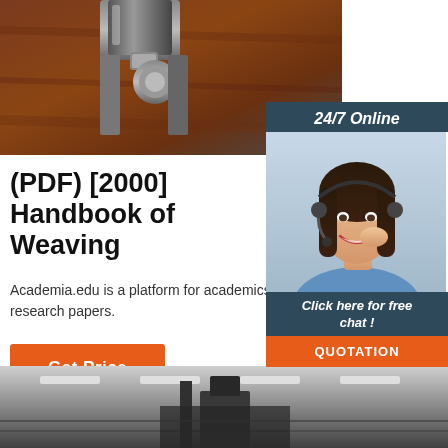[Figure (photo): Close-up photo of metallic machinery parts (bolts/hardware) with brown/rust colored background]
[Figure (photo): Advertisement banner showing a woman with headset smiling, with '24/7 Online' header, 'Click here for free chat!' and QUOTATION button]
(PDF) [2000] Handbook of Weaving
Academia.edu is a platform for academics to share research papers.
Get Price
[Figure (logo): TOP logo with orange dots arranged in arc above orange TOP text]
[Figure (photo): Black and white photo of industrial weaving machinery interior]